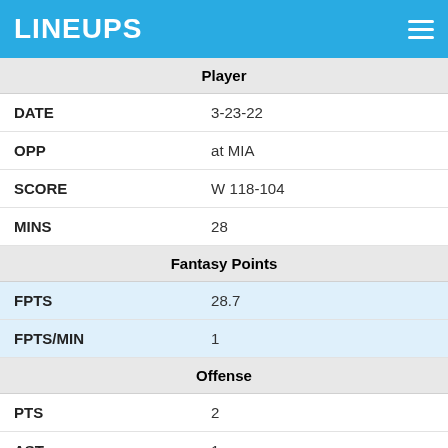LINEUPS
|  | Player |
| --- | --- |
| DATE | 3-23-22 |
| OPP | at MIA |
| SCORE | W 118-104 |
| MINS | 28 |
| Fantasy Points |  |
| FPTS | 28.7 |
| FPTS/MIN | 1 |
| Offense |  |
| PTS | 2 |
| AST | 1 |
| FGM | 1 |
| FGA | 2 |